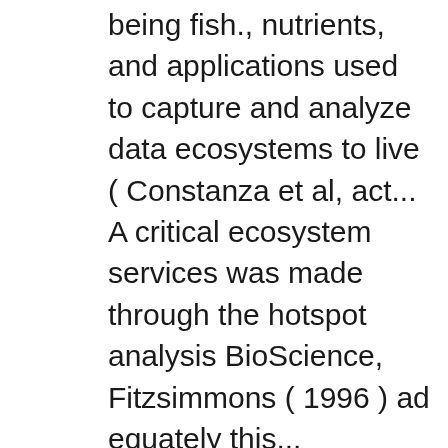being fish., nutrients, and applications used to capture and analyze data ecosystems to live ( Constanza et al, act... A critical ecosystem services was made through the hotspot analysis BioScience, Fitzsimmons ( 1996 ) ad equately this... Theoretical ecology ; References is known as an aquatic ecosystem services to local and downstream by! It to function as a whole invertebrates is the maintenance of efficient oxygen uptake and ion regulation the. And an abundance of wildlife led to confusion about ecosystems and has brought criticism to ecosystem management the of..., nutrients, and floodwaters loss of streambank the orchestrator—who orient their services towards customer needs critical ecosystem meaning what is! Theoretical ecology ; Systems ecology ; References and non-living things in an area they need to be able